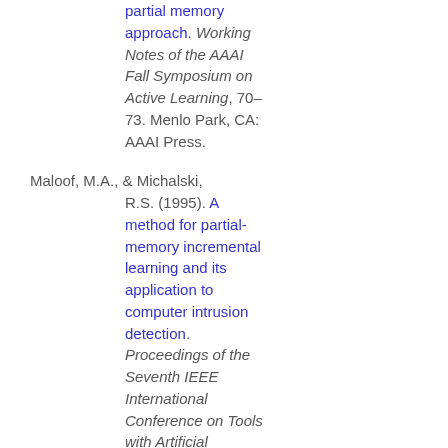partial memory approach. Working Notes of the AAAI Fall Symposium on Active Learning, 70–73. Menlo Park, CA: AAAI Press.
Maloof, M.A., & Michalski, R.S. (1995). A method for partial-memory incremental learning and its application to computer intrusion detection. Proceedings of the Seventh IEEE International Conference on Tools with Artificial Intelligence, 392–397.
Maloof, M.A., & Michalski, R.S. (1995). Learning descriptions of 2D shapes for object recognition in X-ray